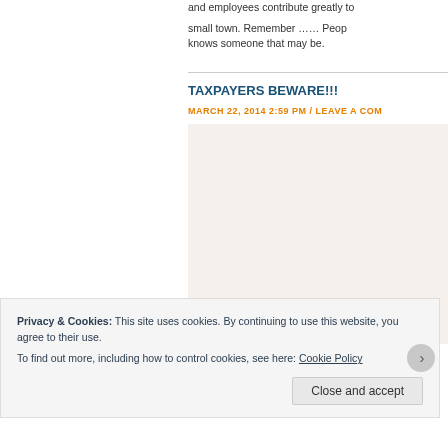and employees contribute greatly to small town. Remember …… People knows someone that may be.
TAXPAYERS BEWARE!!!
MARCH 22, 2014 2:59 PM / LEAVE A COMMENT
[Figure (photo): A tax document or newspaper clipping with large red bold letters 'TAX' overlaid]
Privacy & Cookies: This site uses cookies. By continuing to use this website, you agree to their use.
To find out more, including how to control cookies, see here: Cookie Policy
Close and accept